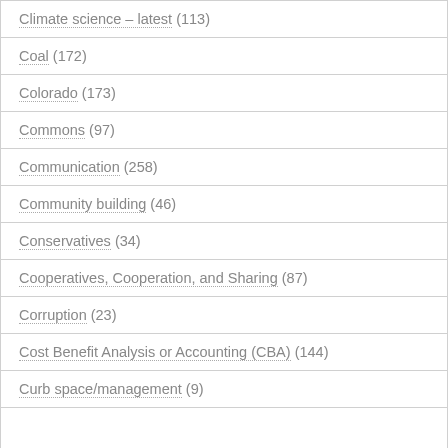Climate science – latest (113)
Coal (172)
Colorado (173)
Commons (97)
Communication (258)
Community building (46)
Conservatives (34)
Cooperatives, Cooperation, and Sharing (87)
Corruption (23)
Cost Benefit Analysis or Accounting (CBA) (144)
Curb space/management (9)